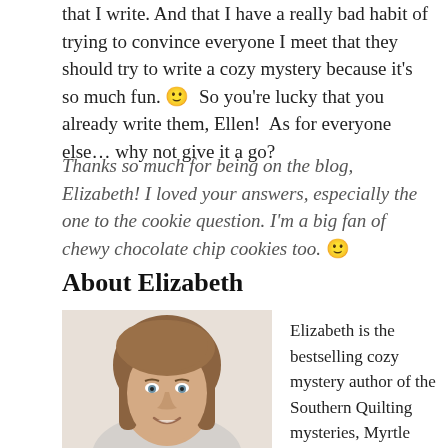that I write. And that I have a really bad habit of trying to convince everyone I meet that they should try to write a cozy mystery because it's so much fun. 🙂 So you're lucky that you already write them, Ellen! As for everyone else… why not give it a go?
Thanks so much for being on the blog, Elizabeth! I loved your answers, especially the one to the cookie question. I'm a big fan of chewy chocolate chip cookies too. 🙂
About Elizabeth
[Figure (photo): Headshot photo of Elizabeth, a woman with straight brown hair, smiling, against a light background.]
Elizabeth is the bestselling cozy mystery author of the Southern Quilting mysteries, Myrtle Clover Cozy Mysteries...